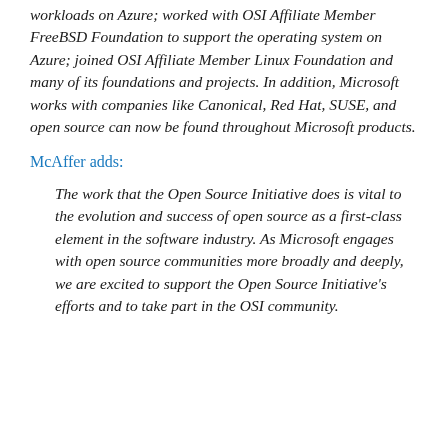workloads on Azure; worked with OSI Affiliate Member FreeBSD Foundation to support the operating system on Azure; joined OSI Affiliate Member Linux Foundation and many of its foundations and projects. In addition, Microsoft works with companies like Canonical, Red Hat, SUSE, and open source can now be found throughout Microsoft products.
McAffer adds:
The work that the Open Source Initiative does is vital to the evolution and success of open source as a first-class element in the software industry. As Microsoft engages with open source communities more broadly and deeply, we are excited to support the Open Source Initiative's efforts and to take part in the OSI community.